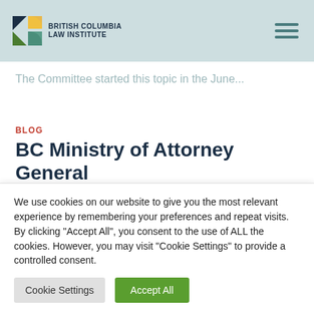British Columbia Law Institute
The Committee started this topic in the June...
BLOG
BC Ministry of Attorney General
We use cookies on our website to give you the most relevant experience by remembering your preferences and repeat visits. By clicking "Accept All", you consent to the use of ALL the cookies. However, you may visit "Cookie Settings" to provide a controlled consent.
Cookie Settings | Accept All